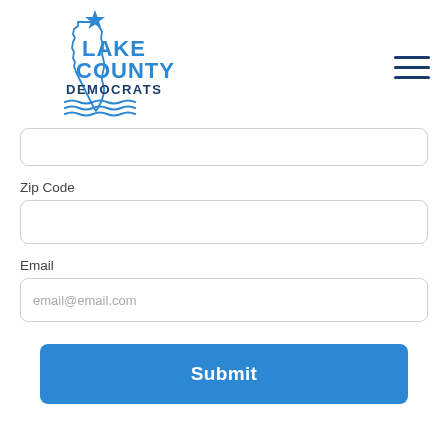[Figure (logo): Lake County Democrats logo: Illinois state outline with a blue star, bold blue 'LAKE COUNTY' text, dark blue 'DEMOCRATS' text, and wavy blue lines representing water]
[Figure (other): Hamburger menu icon: three horizontal dark blue lines]
(unlabeled text input field — top partial field visible)
Zip Code
Email
email@email.com (placeholder)
Submit